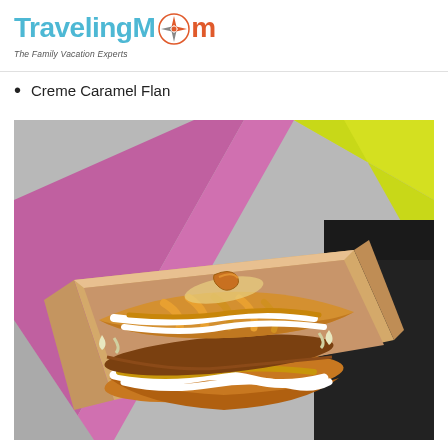TravelingMom — The Family Vacation Experts
Creme Caramel Flan
[Figure (photo): A food photo showing a taco or crepe in a cardboard takeout box, topped with white cream/sauce and caramel-colored glaze, placed on colorful painted wooden boards (purple, yellow, black).]